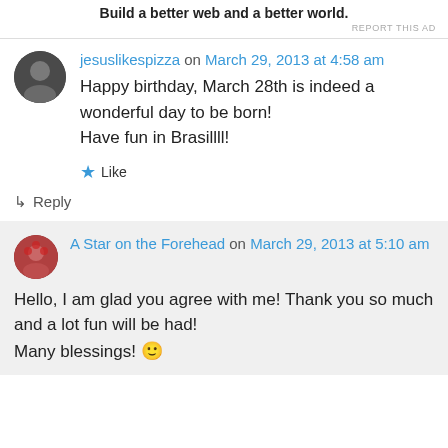Build a better web and a better world.
REPORT THIS AD
jesuslikespizza on March 29, 2013 at 4:58 am
Happy birthday, March 28th is indeed a wonderful day to be born!
Have fun in Brasillll!
★ Like
↳ Reply
A Star on the Forehead on March 29, 2013 at 5:10 am
Hello, I am glad you agree with me! Thank you so much and a lot fun will be had!
Many blessings! 🙂